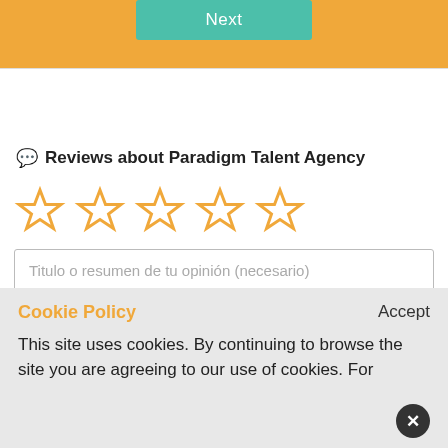[Figure (screenshot): Orange banner with teal 'Next' button at top of page]
Reviews about Paradigm Talent Agency
[Figure (other): Five empty star rating icons in orange outline style]
Titulo o resumen de tu opinión (necesario)
Cookie Policy
Accept
This site uses cookies. By continuing to browse the site you are agreeing to our use of cookies. For more details, review our Cookie Policy.